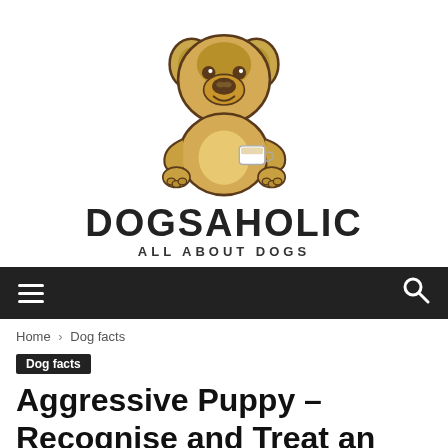[Figure (logo): Dogsaholic website logo: cartoon pug dog sitting cross-legged holding a small cup, drawn in tan/brown tones with dark outlines]
DOGSAHOLIC
ALL ABOUT DOGS
[Figure (other): Black navigation bar with hamburger menu icon on left and search icon on right]
Home › Dog facts
Dog facts
Aggressive Puppy – Recognise and Treat an Aggressive Puppy